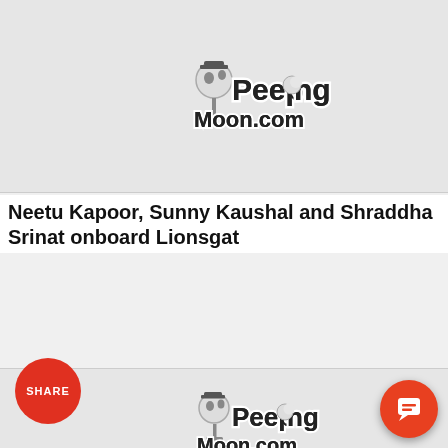[Figure (logo): PeepingMoon.com logo on gray background card]
Neetu Kapoor, Sunny Kaushal and Shraddha Srinat onboard Lionsgat
[Figure (logo): PeepingMoon.com logo on gray background card with SHARE button overlay]
Vijay Deverakonda's 'Jana Gana Mana' with director Puri ganad Liger's poor box-office performance